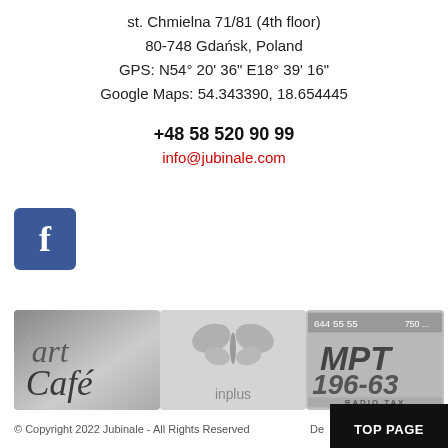st. Chmielna 71/81 (4th floor)
80-748 Gdańsk, Poland
GPS: N54° 20' 36" E18° 39' 16"
Google Maps: 54.343390, 18.654445
+48 58 520 90 99
info@jubinale.com
[Figure (logo): Facebook blue square logo with white 'f']
[Figure (logo): art Café logo in grayscale]
[Figure (logo): inplus butterfly logo in grayscale]
[Figure (logo): MPT 196-63 Radio Taxi logo in grayscale]
© Copyright 2022 Jubinale - All Rights Reserved   De…   TOP PAGE